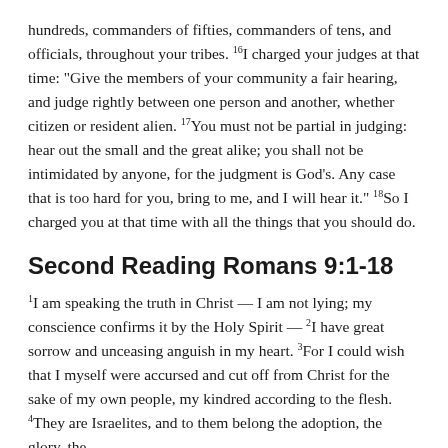hundreds, commanders of fifties, commanders of tens, and officials, throughout your tribes. 16I charged your judges at that time: "Give the members of your community a fair hearing, and judge rightly between one person and another, whether citizen or resident alien. 17You must not be partial in judging: hear out the small and the great alike; you shall not be intimidated by anyone, for the judgment is God's. Any case that is too hard for you, bring to me, and I will hear it." 18So I charged you at that time with all the things that you should do.
Second Reading Romans 9:1-18
1I am speaking the truth in Christ — I am not lying; my conscience confirms it by the Holy Spirit — 2I have great sorrow and unceasing anguish in my heart. 3For I could wish that I myself were accursed and cut off from Christ for the sake of my own people, my kindred according to the flesh. 4They are Israelites, and to them belong the adoption, the glory, the